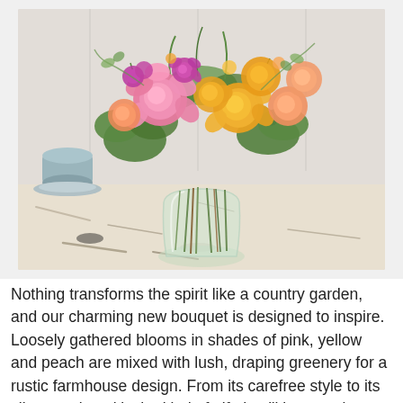[Figure (photo): A colorful floral bouquet in a clear glass vase sitting on a rustic white wooden table. The arrangement features pink roses, yellow spray roses, peach carnations, purple dianthus, and lush green foliage. Background shows a gray-blue mug and saucer on the table.]
Nothing transforms the spirit like a country garden, and our charming new bouquet is designed to inspire. Loosely gathered blooms in shades of pink, yellow and peach are mixed with lush, draping greenery for a rustic farmhouse design. From its carefree style to its vibrant colors, it's the kind of gift they'll love putting on display for all to enjoy. All-around arrangement with pink roses and dianthus, yellow spray roses, peach carnations, hot